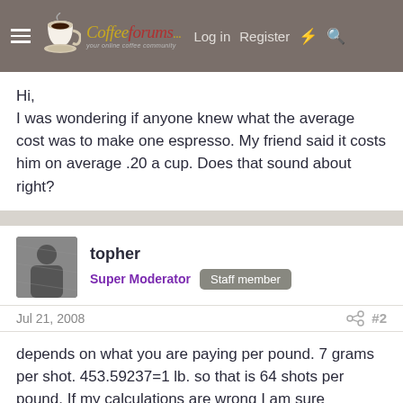CoffeeForums.com  Log in  Register
Hi,
I was wondering if anyone knew what the average cost was to make one espresso. My friend said it costs him on average .20 a cup. Does that sound about right?
topher
Super Moderator  Staff member
Jul 21, 2008  #2
depends on what you are paying per pound. 7 grams per shot. 453.59237=1 lb. so that is 64 shots per pound. If my calculations are wrong I am sure someone will let me know :wink: